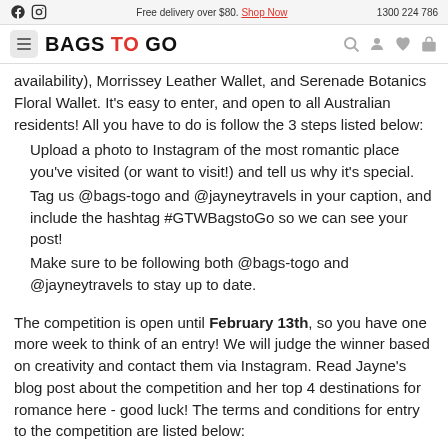Free delivery over $80. Shop Now   1300 224 786
BAGS TO GO
availability), Morrissey Leather Wallet, and Serenade Botanics Floral Wallet. It's easy to enter, and open to all Australian residents! All you have to do is follow the 3 steps listed below:
Upload a photo to Instagram of the most romantic place you've visited (or want to visit!) and tell us why it's special.
Tag us @bags-togo and @jayneytravels in your caption, and include the hashtag #GTWBagstoGo so we can see your post!
Make sure to be following both @bags-togo and @jayneytravels to stay up to date.
The competition is open until February 13th, so you have one more week to think of an entry! We will judge the winner based on creativity and contact them via Instagram. Read Jayne's blog post about the competition and her top 4 destinations for romance here - good luck! The terms and conditions for entry to the competition are listed below: